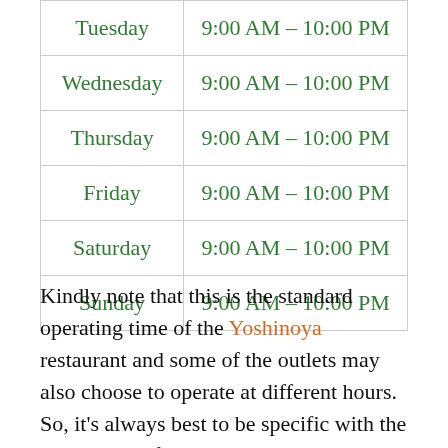| Tuesday | 9:00 AM – 10:00 PM |
| Wednesday | 9:00 AM – 10:00 PM |
| Thursday | 9:00 AM – 10:00 PM |
| Friday | 9:00 AM – 10:00 PM |
| Saturday | 9:00 AM – 10:00 PM |
| Sunday | 9:00 AM – 10:00 PM |
Kindly note that this is the standard operating time of the Yoshinoya restaurant and some of the outlets may also choose to operate at different hours. So, it's always best to be specific with the restaurant before the visit.